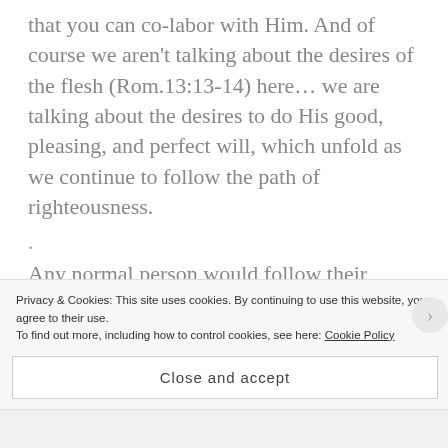that you can co-labor with Him. And of course we aren't talking about the desires of the flesh (Rom.13:13-14) here… we are talking about the desires to do His good, pleasing, and perfect will, which unfold as we continue to follow the path of righteousness.
.
Any normal person would follow their desires… *self jab. Any normal person is following their flesh desires… right into the flames of hell. Put me down for trying something different! Antonyms for normal: abnormal, different, irregular, rare
Privacy & Cookies: This site uses cookies. By continuing to use this website, you agree to their use.
To find out more, including how to control cookies, see here: Cookie Policy
Close and accept